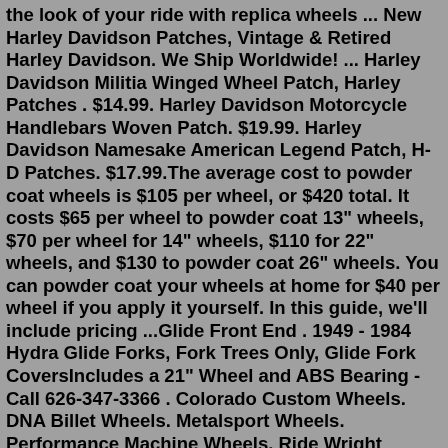the look of your ride with replica wheels ... New Harley Davidson Patches, Vintage & Retired Harley Davidson. We Ship Worldwide! ... Harley Davidson Militia Winged Wheel Patch, Harley Patches . $14.99. Harley Davidson Motorcycle Handlebars Woven Patch. $19.99. Harley Davidson Namesake American Legend Patch, H-D Patches. $17.99.The average cost to powder coat wheels is $105 per wheel, or $420 total. It costs $65 per wheel to powder coat 13" wheels, $70 per wheel for 14" wheels, $110 for 22" wheels, and $130 to powder coat 26" wheels. You can powder coat your wheels at home for $40 per wheel if you apply it yourself. In this guide, we'll include pricing ...Glide Front End . 1949 - 1984 Hydra Glide Forks, Fork Trees Only, Glide Fork CoversIncludes a 21" Wheel and ABS Bearing - Call 626-347-3366 . Colorado Custom Wheels. DNA Billet Wheels. Metalsport Wheels. Performance Machine Wheels. Ride Wright Wheels. Rotation Custom Wheels. Xtreme Machine Wheels. Deal of the day. Special discounts for the products. LATEST PRODUCTS. 40 Spoke Set for